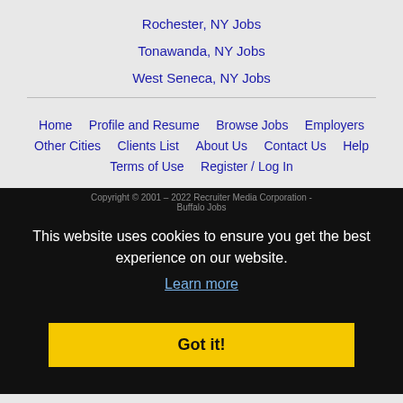Rochester, NY Jobs
Tonawanda, NY Jobs
West Seneca, NY Jobs
Home
Profile and Resume
Browse Jobs
Employers
Other Cities
Clients List
About Us
Contact Us
Help
Terms of Use
Register / Log In
Copyright © 2001 – 2022 Recruiter Media Corporation - Buffalo Jobs
This website uses cookies to ensure you get the best experience on our website.
Learn more
Got it!